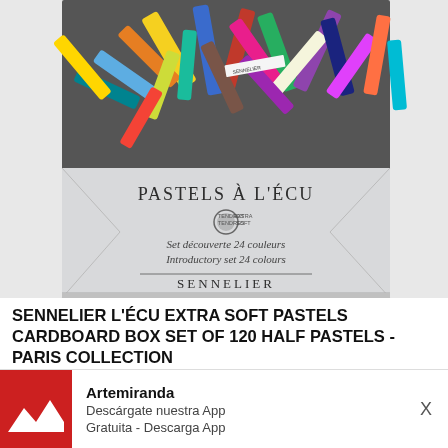[Figure (photo): Product photo of Sennelier L'Ecu Extra Soft Pastels box. Top portion shows colorful pastel sticks scattered. Bottom portion shows the product box label reading 'PASTELS À L'ÉCU', 'TENDRES TENDRES EXTRA SOFT', 'Set découverte 24 couleurs / Introductory set 24 colours', 'SENNELIER'.]
SENNELIER L'ÉCU EXTRA SOFT PASTELS CARDBOARD BOX SET OF 120 HALF PASTELS - PARIS COLLECTION
Cardboard box with 120 extra soft Sennelier L
[Figure (logo): Artemiranda logo: red square background with white mountain/zigzag shape]
Artemiranda
Descárgate nuestra App
Gratuita - Descarga App